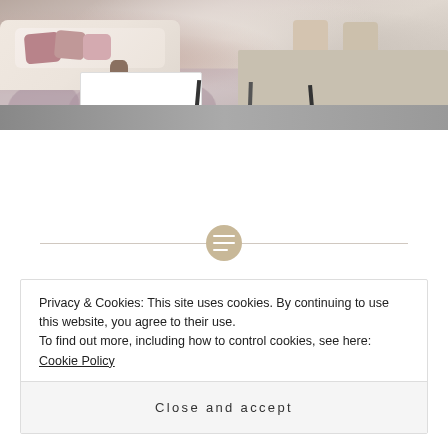[Figure (photo): Interior photo of a modern living/dining room with a light-colored sofa with pink/mauve pillows, a white coffee table, a patterned area rug, and a large dining table with wooden chairs in the background.]
HOME MANAGEMENT
11 Tips on how to make a small
Privacy & Cookies: This site uses cookies. By continuing to use this website, you agree to their use.
To find out more, including how to control cookies, see here: Cookie Policy
Close and accept